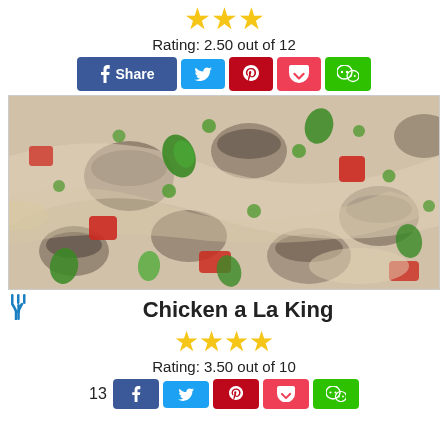★★★ Rating: 2.50 out of 12
[Figure (photo): Close-up photo of Chicken a La King dish with mushrooms, red peppers, peas, and herbs in a creamy sauce]
Chicken a La King
★★★★ Rating: 3.50 out of 10
13